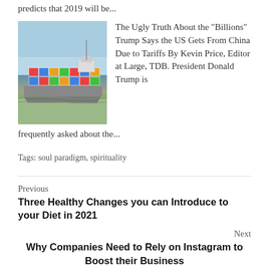predicts that 2019 will be...
[Figure (photo): Cargo ship loaded with colorful shipping containers on a river or harbor, sky in background]
The Ugly Truth About the "Billions" Trump Says the US Gets From China Due to Tariffs By Kevin Price, Editor at Large, TDB. President Donald Trump is frequently asked about the...
Tags: soul paradigm, spirituality
Previous
Three Healthy Changes you can Introduce to your Diet in 2021
Next
Why Companies Need to Rely on Instagram to Boost their Business